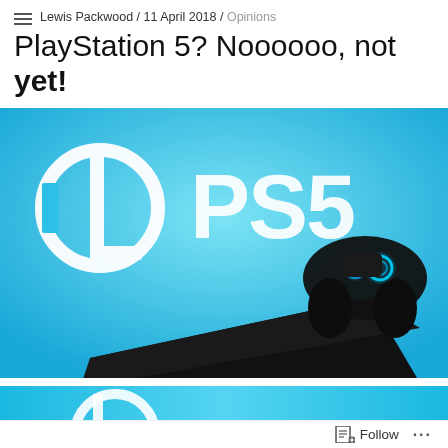Lewis Packwood / 11 April 2018 / Opinions
PlayStation 5? Noooooo, not yet!
[Figure (illustration): Concept art of a PlayStation 5 console (black, flat, sleek design with blue glowing ring and PS5 text on front) alongside a DualShock controller, on a cyan/light-blue background with PlayStation logo and 'PS5' text above]
[Figure (illustration): Partial view of another image with blue background and partial white PlayStation logo visible at bottom of page]
Follow ...